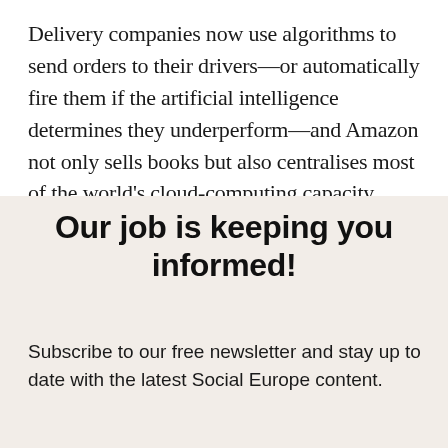Delivery companies now use algorithms to send orders to their drivers—or automatically fire them if the artificial intelligence determines they underperform—and Amazon not only sells books but also centralises most of the world's cloud-computing capacity.
Our job is keeping you informed!
Subscribe to our free newsletter and stay up to date with the latest Social Europe content.